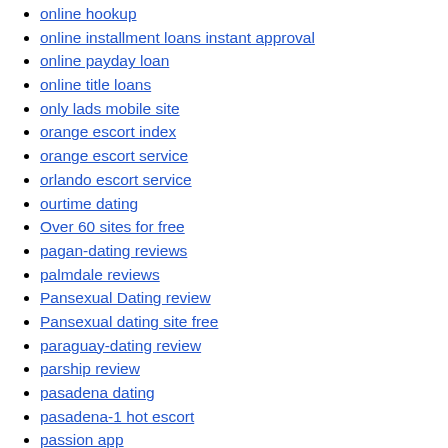online hookup
online installment loans instant approval
online payday loan
online title loans
only lads mobile site
orange escort index
orange escort service
orlando escort service
ourtime dating
Over 60 sites for free
pagan-dating reviews
palmdale reviews
Pansexual Dating review
Pansexual dating site free
paraguay-dating review
parship review
pasadena dating
pasadena-1 hot escort
passion app
Passion.com review
paterson escort
pay day loan
payday advance loan
payday advance loans near me
payday loan app